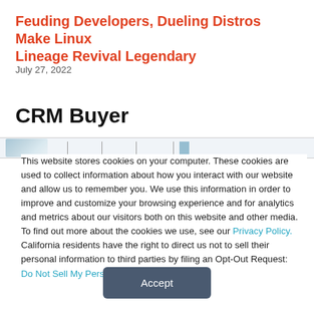Feuding Developers, Dueling Distros Make Linux Lineage Revival Legendary
July 27, 2022
CRM Buyer
[Figure (screenshot): Navigation bar with logo and separator lines]
This website stores cookies on your computer. These cookies are used to collect information about how you interact with our website and allow us to remember you. We use this information in order to improve and customize your browsing experience and for analytics and metrics about our visitors both on this website and other media. To find out more about the cookies we use, see our Privacy Policy. California residents have the right to direct us not to sell their personal information to third parties by filing an Opt-Out Request: Do Not Sell My Personal Info.
Accept